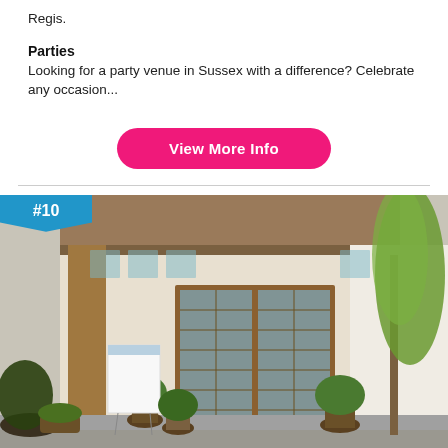Regis.
Parties
Looking for a party venue in Sussex with a difference? Celebrate any occasion...
View More Info
[Figure (photo): Entrance of a venue with wooden pillars, large French doors with glass panes, potted plants and greenery, and a white board sign. Badge labeled #10 in blue in top-left corner.]